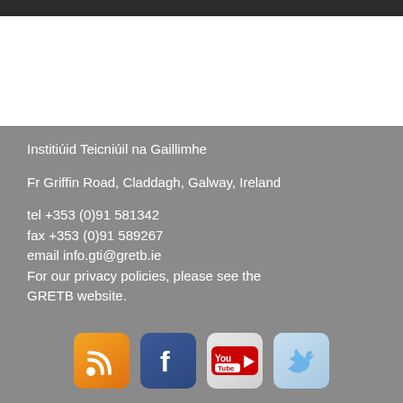Institiúid Teicniúil na Gaillimhe
Fr Griffin Road, Claddagh, Galway, Ireland
tel +353 (0)91 581342
fax +353 (0)91 589267
email info.gti@gretb.ie
For our privacy policies, please see the GRETB website.
[Figure (logo): RSS feed icon, Facebook icon, YouTube icon, Twitter icon]